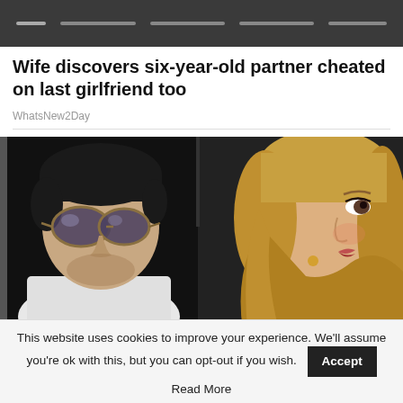Wife discovers six-year-old partner cheated on last girlfriend too
WhatsNew2Day
[Figure (photo): A man with large tinted glasses wearing a white outfit seated in a car next to a blonde woman looking to the side, vintage 1970s style photo.]
This website uses cookies to improve your experience. We'll assume you're ok with this, but you can opt-out if you wish.
Accept
Read More